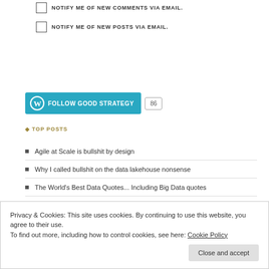NOTIFY ME OF NEW COMMENTS VIA EMAIL.
NOTIFY ME OF NEW POSTS VIA EMAIL.
[Figure (other): Follow GOOD STRATEGY WordPress follow button with count badge showing 86]
TOP POSTS
Agile at Scale is bullshit by design
Why I called bullshit on the data lakehouse nonsense
The World's Best Data Quotes... Including Big Data quotes
Privacy & Cookies: This site uses cookies. By continuing to use this website, you agree to their use. To find out more, including how to control cookies, see here: Cookie Policy
Close and accept